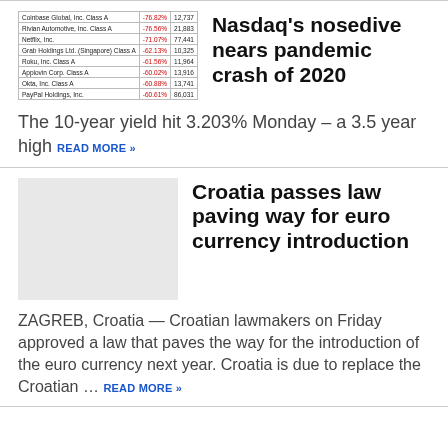|  |  |  |
| --- | --- | --- |
| Coinbase Global, Inc. Class A | -76.82% | 12,737 |
| Rivian Automotive, Inc. Class A | -76.56% | 21,883 |
| Netflix, Inc. | -71.07% | 77,441 |
| Grab Holdings Ltd. (Singapore) Class A | -62.13% | 10,325 |
| Roku, Inc. Class A | -61.56% | 11,964 |
| Applovin Corp. Class A | -60.02% | 13,916 |
| Okta, Inc. Class A | -60.88% | 13,741 |
| PayPal Holdings, Inc. | -60.61% | 86,031 |
Nasdaq's nosedive nears pandemic crash of 2020
The 10-year yield hit 3.203% Monday – a 3.5 year high READ MORE »
[Figure (photo): Gray placeholder image for Croatia article]
Croatia passes law paving way for euro currency introduction
ZAGREB, Croatia — Croatian lawmakers on Friday approved a law that paves the way for the introduction of the euro currency next year. Croatia is due to replace the Croatian ... READ MORE »